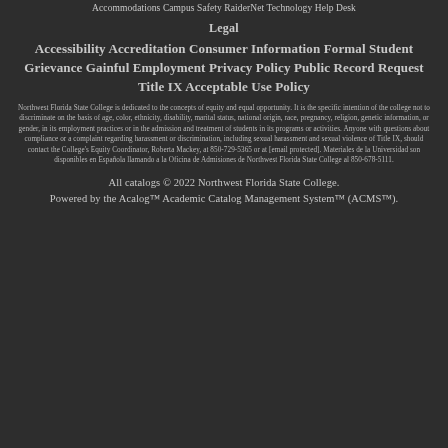Accommodations Campus Safety RaiderNet Technology Help Desk
Legal
Accessibility Accreditation Consumer Information Formal Student Grievance Gainful Employment Privacy Policy Public Record Request Title IX Acceptable Use Policy
Northwest Florida State College is dedicated to the concepts of equity and equal opportunity. It is the specific intention of the college not to discriminate on the basis of age, color, ethnicity, disability, marital status, national origin, race, pregnancy, religion, genetic information, or gender, in its employment practices or in the admission and treatment of students in its programs or activities. Anyone with questions about compliance or a complaint regarding harassment or discrimination, including sexual harassment and sexual violence of Title IX, should contact the College's Equity Coordinator, Roberta Mackey, at 850-729-5365 or at [email protected]. Materiales de la Universidad son disponibles en Española llamando a la Oficina de Admisiones de Northwest Florida State College al 850-678-5111.
All catalogs © 2022 Northwest Florida State College. Powered by the Acalog™ Academic Catalog Management System™ (ACMS™).